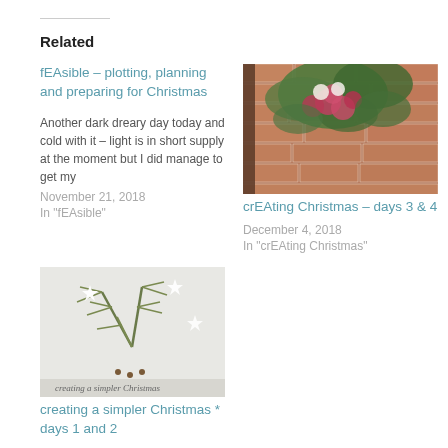Related
fEAsible – plotting, planning and preparing for Christmas
Another dark dreary day today and cold with it – light is in short supply at the moment but I did manage to get my
November 21, 2018
In "fEAsible"
[Figure (photo): Floral arrangement with red and pink flowers and green foliage against a brick wall background]
crEAting Christmas – days 3 & 4
December 4, 2018
In "crEAting Christmas"
[Figure (photo): Pine/fir branches with white star decorations on a light grey background, with cursive text at bottom]
creating a simpler Christmas * days 1 and 2